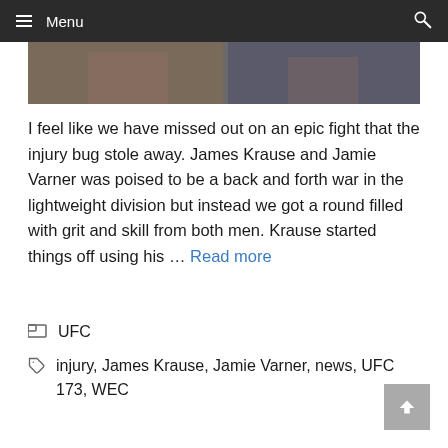Menu
[Figure (photo): Cropped photo strip showing two fighters/people, partially visible]
I feel like we have missed out on an epic fight that the injury bug stole away. James Krause and Jamie Varner was poised to be a back and forth war in the lightweight division but instead we got a round filled with grit and skill from both men. Krause started things off using his … Read more
UFC
injury, James Krause, Jamie Varner, news, UFC 173, WEC